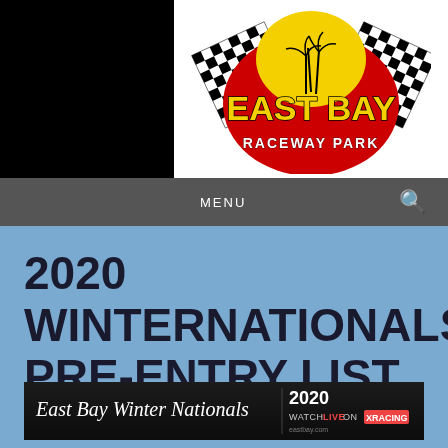[Figure (logo): East Bay Raceway Park logo with checkered flags and yellow text on black/red background]
MENU
2020 WINTERNATIONALS PRE-ENTRY LIST
[Figure (screenshot): East Bay Winter Nationals 2020 – Watch Live on XRACING banner advertisement]